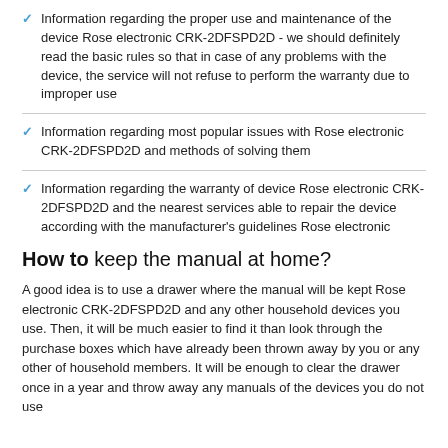Information regarding the proper use and maintenance of the device Rose electronic CRK-2DFSPD2D - we should definitely read the basic rules so that in case of any problems with the device, the service will not refuse to perform the warranty due to improper use
Information regarding most popular issues with Rose electronic CRK-2DFSPD2D and methods of solving them
Information regarding the warranty of device Rose electronic CRK-2DFSPD2D and the nearest services able to repair the device according with the manufacturer's guidelines Rose electronic
How to keep the manual at home?
A good idea is to use a drawer where the manual will be kept Rose electronic CRK-2DFSPD2D and any other household devices you use. Then, it will be much easier to find it than look through the purchase boxes which have already been thrown away by you or any other of household members. It will be enough to clear the drawer once in a year and throw away any manuals of the devices you do not use